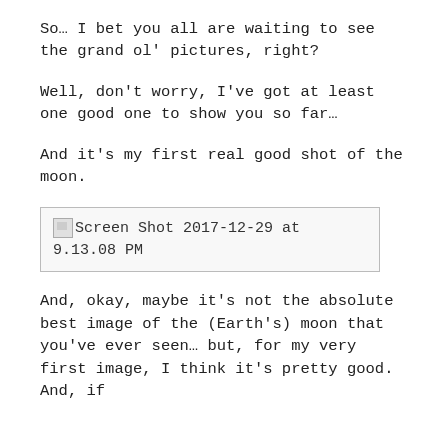So… I bet you all are waiting to see the grand ol' pictures, right?
Well, don't worry, I've got at least one good one to show you so far…
And it's my first real good shot of the moon.
[Figure (photo): Broken image placeholder labeled: Screen Shot 2017-12-29 at 9.13.08 PM]
And, okay, maybe it's not the absolute best image of the (Earth's) moon that you've ever seen… but, for my very first image, I think it's pretty good. And, if